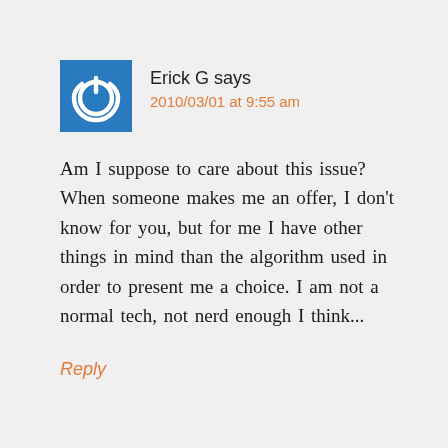[Figure (logo): Blue square avatar with white power button icon]
Erick G says
2010/03/01 at 9:55 am
Am I suppose to care about this issue? When someone makes me an offer, I don't know for you, but for me I have other things in mind than the algorithm used in order to present me a choice. I am not a normal tech, not nerd enough I think...
Reply